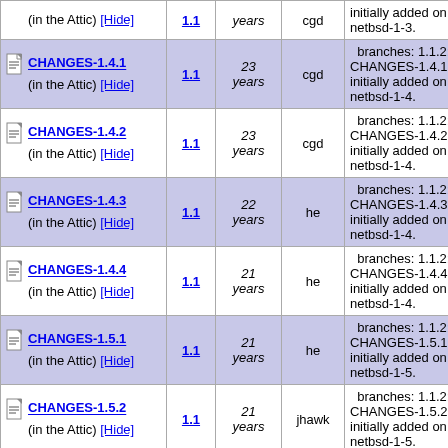| File | Rev | Age | Author | Description |
| --- | --- | --- | --- | --- |
| (in the Attic) [Hide] | 1.1 | cgd | initially added on branch netbsd-1-3. |
| CHANGES-1.4.1 (in the Attic) [Hide] | 1.1 | 23 years | cgd | branches: 1.1.2; file CHANGES-1.4.1 was initially added on branch netbsd-1-4. |
| CHANGES-1.4.2 (in the Attic) [Hide] | 1.1 | 23 years | cgd | branches: 1.1.2; file CHANGES-1.4.2 was initially added on branch netbsd-1-4. |
| CHANGES-1.4.3 (in the Attic) [Hide] | 1.1 | 22 years | he | branches: 1.1.2; file CHANGES-1.4.3 was initially added on branch netbsd-1-4. |
| CHANGES-1.4.4 (in the Attic) [Hide] | 1.1 | 21 years | he | branches: 1.1.2; file CHANGES-1.4.4 was initially added on branch netbsd-1-4. |
| CHANGES-1.5.1 (in the Attic) [Hide] | 1.1 | 21 years | he | branches: 1.1.2; file CHANGES-1.5.1 was initially added on branch netbsd-1-5. |
| CHANGES-1.5.2 (in the Attic) [Hide] | 1.1 | 21 years | jhawk | branches: 1.1.2; file CHANGES-1.5.2 was initially added on branch netbsd-1-5. |